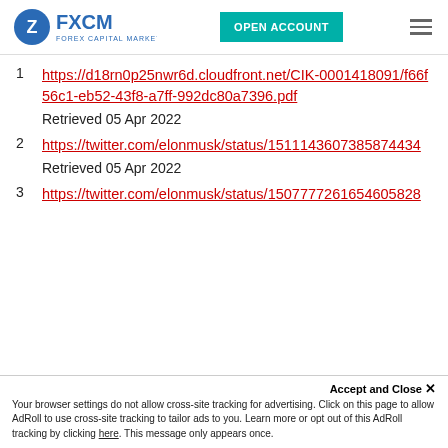[Figure (logo): FXCM Forex Capital Markets logo with teal Open Account button and hamburger menu icon]
1 https://d18rn0p25nwr6d.cloudfront.net/CIK-0001418091/f66f56c1-eb52-43f8-a7ff-992dc80a7396.pdf
Retrieved 05 Apr 2022
2 https://twitter.com/elonmusk/status/15111436073 85874434
Retrieved 05 Apr 2022
3 https://twitter.com/elonmusk/status/1507777261654605828
Accept and Close ×
Your browser settings do not allow cross-site tracking for advertising. Click on this page to allow AdRoll to use cross-site tracking to tailor ads to you. Learn more or opt out of this AdRoll tracking by clicking here. This message only appears once.